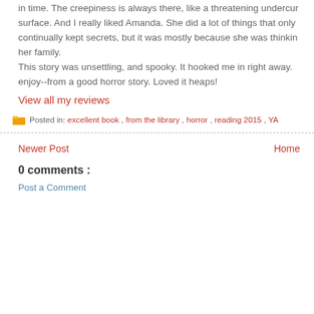in time. The creepiness is always there, like a threatening undercurrent surface. And I really liked Amanda. She did a lot of things that only continually kept secrets, but it was mostly because she was thinking her family.
This story was unsettling, and spooky. It hooked me in right away. enjoy--from a good horror story. Loved it heaps!
View all my reviews
Posted in: excellent book , from the library , horror , reading 2015 , YA
Newer Post   Home
0 comments :
Post a Comment